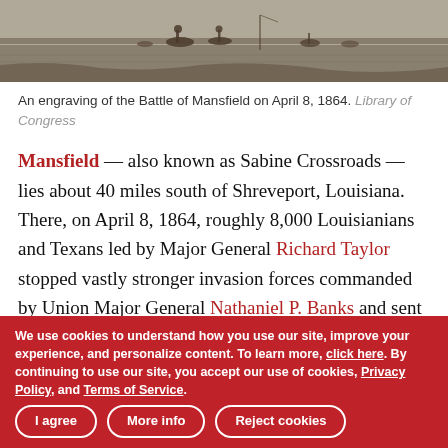[Figure (photo): A black and white engraving of the Battle of Mansfield on April 8, 1864, showing figures on horseback in a landscape.]
An engraving of the Battle of Mansfield on April 8, 1864. Library of Congress
Mansfield — also known as Sabine Crossroads — lies about 40 miles south of Shreveport, Louisiana. There, on April 8, 1864, roughly 8,000 Louisianians and Texans led by Major General Richard Taylor stopped vastly stronger invasion forces commanded by Union Major General Nathaniel P. Banks and sent them scurrying back toward their starting point of New Orleans. Had Banks been victorious at Mansfield, his next objective would have been Shreveport — followed by a drive through East Texas. But Taylor and his
We use cookies to understand how you use our site, improve your experience, and personalize content. To learn more, click here. By continuing to use our site, you accept our use of cookies, Privacy Policy, and Terms of Service.